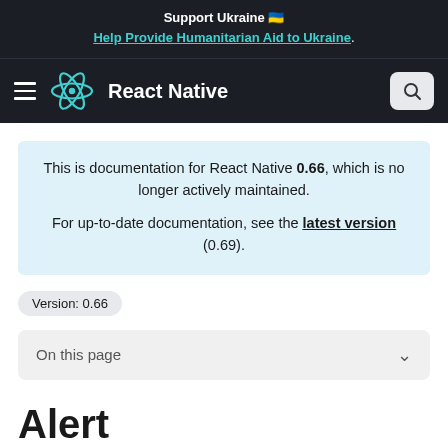Support Ukraine 🇺🇦
Help Provide Humanitarian Aid to Ukraine.
React Native
This is documentation for React Native 0.66, which is no longer actively maintained.
For up-to-date documentation, see the latest version (0.69).
Version: 0.66
On this page
Alert